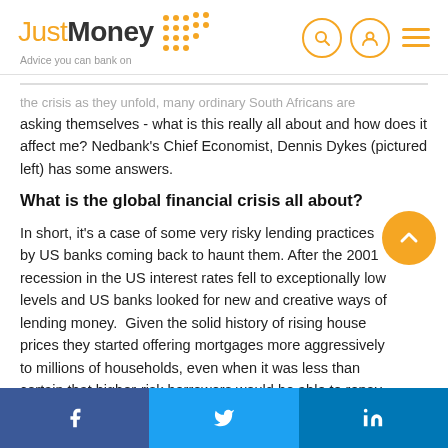JustMoney — Advice you can bank on
the crisis as they unfold, many ordinary South Africans are asking themselves - what is this really all about and how does it affect me? Nedbank's Chief Economist, Dennis Dykes (pictured left) has some answers.
What is the global financial crisis all about?
In short, it's a case of some very risky lending practices by US banks coming back to haunt them. After the 2001 recession in the US interest rates fell to exceptionally low levels and US banks looked for new and creative ways of lending money.  Given the solid history of rising house prices they started offering mortgages more aggressively to millions of households, even when it was less than certain that higher-risk borrowers would be able to repay their
f   Twitter   in